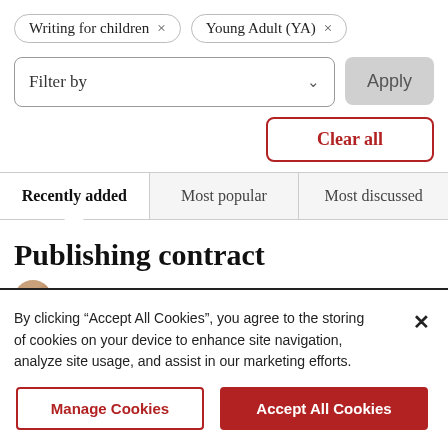Writing for children ×
Young Adult (YA) ×
Filter by
Apply
Clear all
Recently added
Most popular
Most discussed
Publishing contract
By clicking “Accept All Cookies”, you agree to the storing of cookies on your device to enhance site navigation, analyze site usage, and assist in our marketing efforts.
Manage Cookies
Accept All Cookies